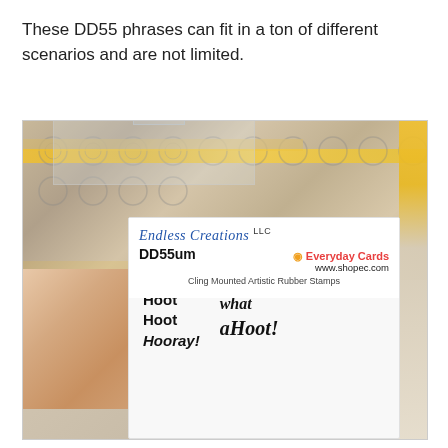These DD55 phrases can fit in a ton of different scenarios and are not limited.
[Figure (photo): A hand holding a clear plastic stamp package from Endless Creations LLC. The package label reads 'Endless Creations LLC', 'DD55um', 'Everyday Cards', 'www.shopec.com', 'Cling Mounted Artistic Rubber Stamps'. The stamp shows phrases 'Hoot Hoot Hooray!' and 'what a Hoot!' in decorative fonts. Background shows patterned craft materials with yellow accents and circle patterns.]